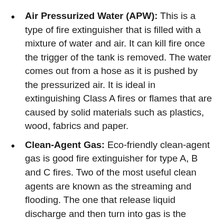Air Pressurized Water (APW): This is a type of fire extinguisher that is filled with a mixture of water and air. It can kill fire once the trigger of the tank is removed. The water comes out from a hose as it is pushed by the pressurized air. It is ideal in extinguishing Class A fires or flames that are caused by solid materials such as plastics, wood, fabrics and paper.
Clean-Agent Gas: Eco-friendly clean-agent gas is good fire extinguisher for type A, B and C fires. Two of the most useful clean agents are known as the streaming and flooding. The one that release liquid discharge and then turn into gas is the streaming clean agent gas while the more gaseous in form is the flooding clean agent.
Aqueous Film-Forming Foam (AFFF): If you are looking for an efficient fire extinguisher that can stop fire under class A and B, this one is the best pick. The technique is it covers the fire through a foamy mixture